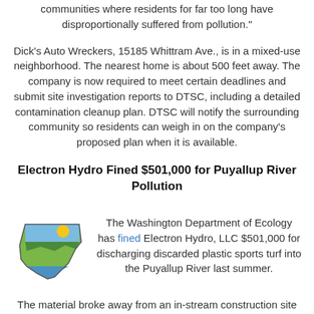communities where residents for far too long have disproportionally suffered from pollution."
Dick’s Auto Wreckers, 15185 Whittram Ave., is in a mixed-use neighborhood. The nearest home is about 500 feet away. The company is now required to meet certain deadlines and submit site investigation reports to DTSC, including a detailed contamination cleanup plan. DTSC will notify the surrounding community so residents can weigh in on the company’s proposed plan when it is available.
Electron Hydro Fined $501,000 for Puyallup River Pollution
[Figure (logo): Washington state Department of Ecology logo: stylized map of Washington state with landscape imagery (sky, sun, hills, water)]
The Washington Department of Ecology has fined Electron Hydro, LLC $501,000 for discharging discarded plastic sports turf into the Puyallup River last summer.
The material broke away from an in-stream construction site in eastern Pierce County in late July.